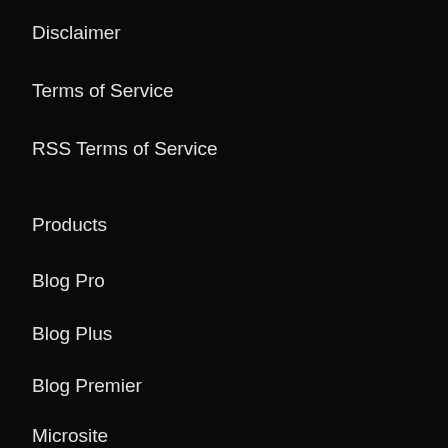Disclaimer
Terms of Service
RSS Terms of Service
Products
Blog Pro
Blog Plus
Blog Premier
Microsite
Syndication Portals
LexBlog Community
1-800-913-0988
Submit a Request
Support Center